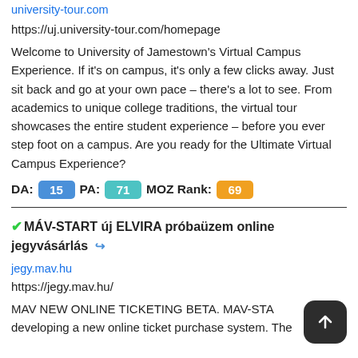university-tour.com
https://uj.university-tour.com/homepage
Welcome to University of Jamestown's Virtual Campus Experience. If it's on campus, it's only a few clicks away. Just sit back and go at your own pace – there's a lot to see. From academics to unique college traditions, the virtual tour showcases the entire student experience – before you ever step foot on a campus. Are you ready for the Ultimate Virtual Campus Experience?
DA: 15  PA: 71  MOZ Rank: 69
✔MÁV-START új ELVIRA próbaüzem online jegyvásárlás 🔗
jegy.mav.hu
https://jegy.mav.hu/
MAV NEW ONLINE TICKETING BETA. MAV-START developing a new online ticket purchase system. The